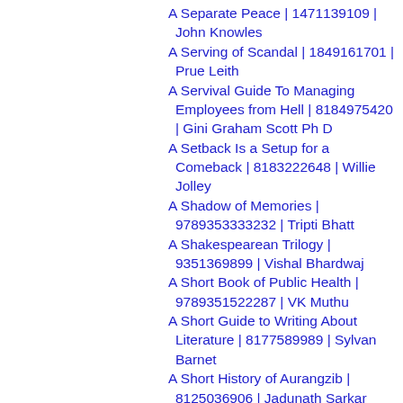A Separate Peace | 1471139109 | John Knowles
A Serving of Scandal | 1849161701 | Prue Leith
A Servival Guide To Managing Employees from Hell | 8184975420 | Gini Graham Scott Ph D
A Setback Is a Setup for a Comeback | 8183222648 | Willie Jolley
A Shadow of Memories | 9789353333232 | Tripti Bhatt
A Shakespearean Trilogy | 9351369899 | Vishal Bhardwaj
A Short Book of Public Health | 9789351522287 | VK Muthu
A Short Guide to Writing About Literature | 8177589989 | Sylvan Barnet
A Short History of Aurangzib | 8125036906 | Jadunath Sarkar
A Short History of China From Ancient Dynasties to Economic Powerhouse | 9781842439685 | Gordon Kerr
A Short History of Ethics | 0415287494 |